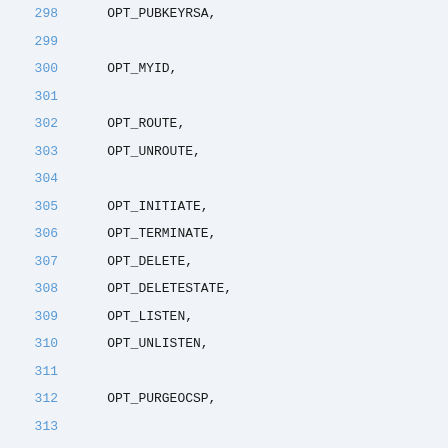Source code listing lines 298-322 showing enumeration values: OPT_PUBKEYRSA, OPT_MYID, OPT_ROUTE, OPT_UNROUTE, OPT_INITIATE, OPT_TERMINATE, OPT_DELETE, OPT_DELETESTATE, OPT_LISTEN, OPT_UNLISTEN, OPT_PURGEOCSP, OPT_REREADSECRETS, OPT_REREADCACERTS, OPT_REREADAACERTS, OPT_REREADOCSPCERTS, OPT_REREADACERTS, OPT_REREADCRLS, OPT_REREADALL, OPT_STATUS